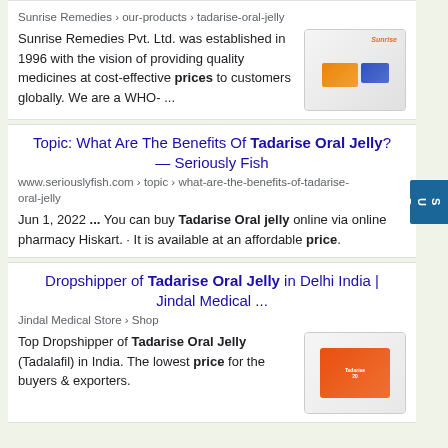Sunrise Remedies Pvt. Ltd. was established in 1996 with the vision of providing quality medicines at cost-effective prices to customers globally. We are a WHO- ...
Sunrise Remedies › our-products › tadarise-oral-jelly
[Figure (photo): Product image showing orange and blue medicine boxes for Tadarise with Sunrise Remedies logo]
Topic: What Are The Benefits Of Tadarise Oral Jelly? — Seriously Fish
www.seriouslyfish.com › topic › what-are-the-benefits-of-tadarise-oral-jelly
Jun 1, 2022 ... You can buy Tadarise Oral jelly online via online pharmacy Hiskart. · It is available at an affordable price.
Dropshipper of Tadarise Oral Jelly in Delhi India | Jindal Medical ...
Jindal Medical Store › Shop
Top Dropshipper of Tadarise Oral Jelly (Tadalafil) in India. The lowest price for the buyers & exporters.
[Figure (photo): Product image showing orange medicine box for Tadarise 20]